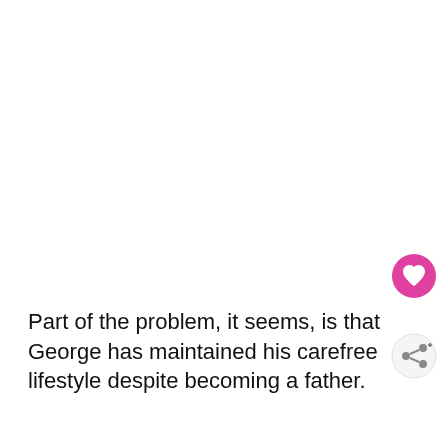Part of the problem, it seems, is that George has maintained his carefree lifestyle despite becoming a father.
[Figure (illustration): Pink heart icon button (like/favorite button)]
[Figure (illustration): Share icon button (circular with share symbol)]